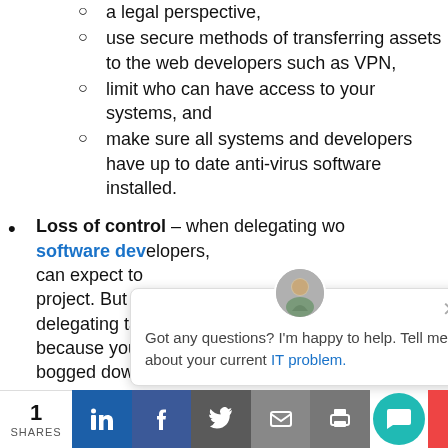a legal perspective,
use secure methods of transferring assets to the web developers such as VPN,
limit who can have access to your systems, and
make sure all systems and developers have up to date anti-virus software installed.
Loss of control – when delegating work to software developers, you can expect to lose some control over the project. But the reason you are delegating tasks, you are outsourcing because you really do not want to be bogged down with the
[Figure (screenshot): Chat popup overlay with avatar, close button, and text: Got any questions? I'm happy to help. Tell me about your current IT problem.]
1 SHARES | LinkedIn | Facebook | Twitter | Email | Print | Chat